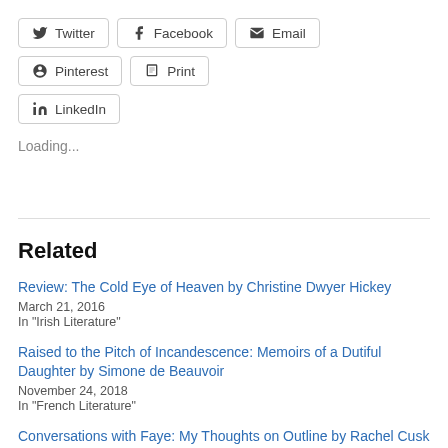Twitter
Facebook
Email
Pinterest
Print
LinkedIn
Loading...
Related
Review: The Cold Eye of Heaven by Christine Dwyer Hickey
March 21, 2016
In "Irish Literature"
Raised to the Pitch of Incandescence: Memoirs of a Dutiful Daughter by Simone de Beauvoir
November 24, 2018
In "French Literature"
Conversations with Faye: My Thoughts on Outline by Rachel Cusk